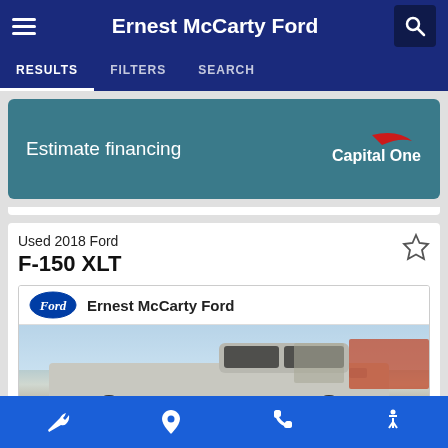Ernest McCarty Ford
RESULTS  FILTERS  SEARCH
[Figure (screenshot): Estimate financing button with Capital One logo on teal background]
Used 2018 Ford
F-150 XLT
[Figure (photo): Ernest McCarty Ford dealer banner with Ford oval logo and photo of a silver Ford F-150 XLT truck in a dealership lot]
Bottom toolbar with wrench, location pin, phone, and accessibility icons